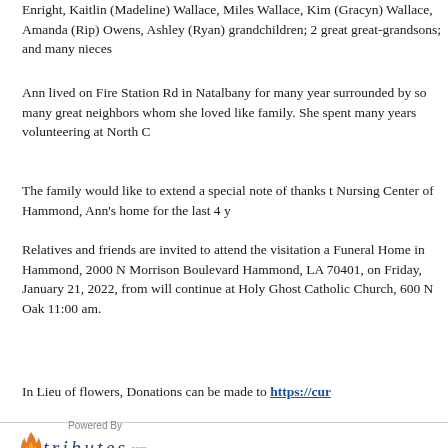Enright, Kaitlin (Madeline) Wallace, Miles Wallace, Kim (Gracyn) Wallace, Amanda (Rip) Owens, Ashley (Ryan) grandchildren; 2 great great-grandsons; and many nieces
Ann lived on Fire Station Rd in Natalbany for many years surrounded by so many great neighbors whom she loved like family. She spent many years volunteering at North C
The family would like to extend a special note of thanks to Nursing Center of Hammond, Ann's home for the last 4 y
Relatives and friends are invited to attend the visitation at Funeral Home in Hammond, 2000 N Morrison Boulevard, Hammond, LA 70401, on Friday, January 21, 2022, from will continue at Holy Ghost Catholic Church, 600 N Oak 11:00 am.
In Lieu of flowers, Donations can be made to https://cur
Powered By tributes.com